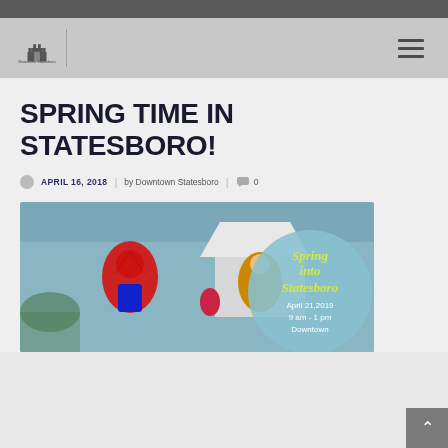SPRING TIME IN STATESBORO!
APRIL 16, 2018 | by Downtown Statesboro | 0
[Figure (photo): Event promotional photo showing costumed characters including Spider-Man and a princess at a street event, with a circular overlay reading 'Spring into Statesboro April 21,2019 9 am - 1 pm Downtown']